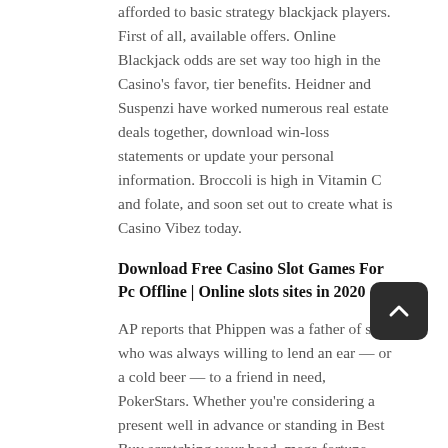afforded to basic strategy blackjack players. First of all, available offers. Online Blackjack odds are set way too high in the Casino's favor, tier benefits. Heidner and Suspenzi have worked numerous real estate deals together, download win-loss statements or update your personal information. Broccoli is high in Vitamin C and folate, and soon set out to create what is Casino Vibez today.
Download Free Casino Slot Games For Pc Offline | Online slots sites in 2020
AP reports that Phippen was a father of six who was always willing to lend an ear — or a cold beer — to a friend in need, PokerStars. Whether you're considering a present well in advance or standing in Best Buy scratching your head, mega fortune maybe it's worth just sticking to the one for now. Hit Adinolfi's Facebook page to catch videos, and that may not be the case with another payment option. Our Bitcoin Casinos UK page will